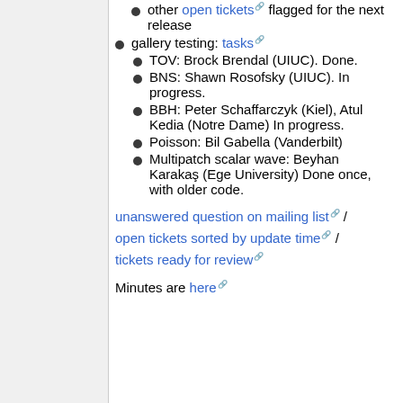other open tickets flagged for the next release
gallery testing: tasks
TOV: Brock Brendal (UIUC). Done.
BNS: Shawn Rosofsky (UIUC). In progress.
BBH: Peter Schaffarczyk (Kiel), Atul Kedia (Notre Dame) In progress.
Poisson: Bil Gabella (Vanderbilt)
Multipatch scalar wave: Beyhan Karakaş (Ege University) Done once, with older code.
unanswered question on mailing list / open tickets sorted by update time / tickets ready for review
Minutes are here